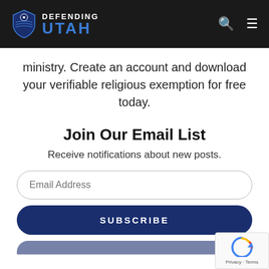Defending Utah
ministry. Create an account and download your verifiable religious exemption for free today.
Join Our Email List
Receive notifications about new posts.
Email Address
SUBSCRIBE